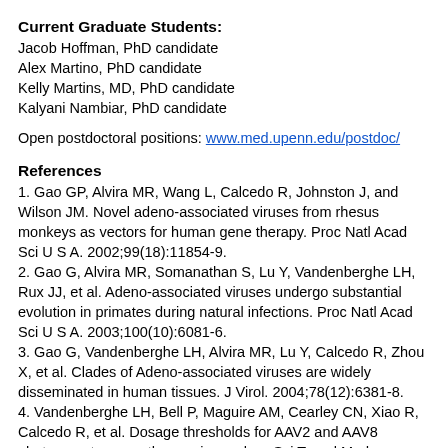Current Graduate Students:
Jacob Hoffman, PhD candidate
Alex Martino, PhD candidate
Kelly Martins, MD, PhD candidate
Kalyani Nambiar, PhD candidate
Open postdoctoral positions: www.med.upenn.edu/postdoc/
References
1. Gao GP, Alvira MR, Wang L, Calcedo R, Johnston J, and Wilson JM. Novel adeno-associated viruses from rhesus monkeys as vectors for human gene therapy. Proc Natl Acad Sci U S A. 2002;99(18):11854-9.
2. Gao G, Alvira MR, Somanathan S, Lu Y, Vandenberghe LH, Rux JJ, et al. Adeno-associated viruses undergo substantial evolution in primates during natural infections. Proc Natl Acad Sci U S A. 2003;100(10):6081-6.
3. Gao G, Vandenberghe LH, Alvira MR, Lu Y, Calcedo R, Zhou X, et al. Clades of Adeno-associated viruses are widely disseminated in human tissues. J Virol. 2004;78(12):6381-8.
4. Vandenberghe LH, Bell P, Maguire AM, Cearley CN, Xiao R, Calcedo R, et al. Dosage thresholds for AAV2 and AAV8 photoreceptor gene therapy in monkey. Sci Transl Med. 2011;3(88):88ra54.
5. Bell CL, Vandenberghe LH, Bell P, Limberis MP, Gao GP, Van...